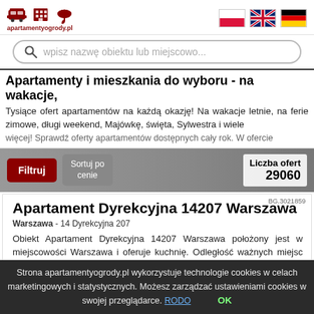apartamentyogrody.pl - header with logo icons and language flags (Polish, English, German)
wpisz nazwę obiektu lub miejscowo...
Apartamenty i mieszkania do wyboru - na wakacje,
Tysiące ofert apartamentów na każdą okazję! Na wakacje letnie, na ferie zimowe, długi weekend, Majówkę, święta, Sylwestra i wiele więcej! Sprawdź oferty apartamentów dostępnych cały rok. W ofercie
Filtruj | Sortuj po cenie | Liczba ofert 29060
BG.3021859
Apartament Dyrekcyjna 14207 Warszawa
Warszawa - 14 Dyrekcyjna 207
Obiekt Apartament Dyrekcyjna 14207 Warszawa położony jest w miejscowości Warszawa i oferuje kuchnię. Odległość ważnych miejsc od obiektu: Muzeum Powstania Warszawskiego – 8 km, Centrum handlowe ...
Strona apartamentyogrody.pl wykorzystuje technologie cookies w celach marketingowych i statystycznych. Możesz zarządzać ustawieniami cookies w swojej przeglądarce. RODO   OK